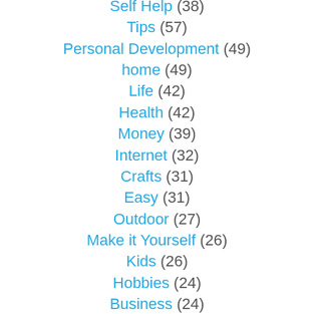Self Help (38)
Tips (57)
Personal Development (49)
home (49)
Life (42)
Health (42)
Money (39)
Internet (32)
Crafts (31)
Easy (31)
Outdoor (27)
Make it Yourself (26)
Kids (26)
Hobbies (24)
Business (24)
Home Improvements (23)
Parties (23)